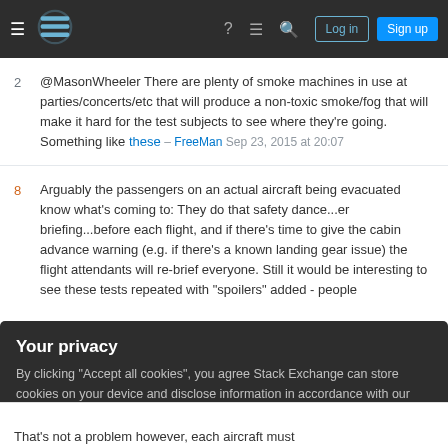Stack Exchange navigation bar with hamburger menu, logo, help, chat, search icons, Log in and Sign up buttons
2 @MasonWheeler There are plenty of smoke machines in use at parties/concerts/etc that will produce a non-toxic smoke/fog that will make it hard for the test subjects to see where they're going. Something like these – FreeMan Sep 23, 2015 at 20:07
8 Arguably the passengers on an actual aircraft being evacuated know what's coming to: They do that safety dance...er briefing...before each flight, and if there's time to give the cabin advance warning (e.g. if there's a known landing gear issue) the flight attendants will re-brief everyone. Still it would be interesting to see these tests repeated with "spoilers" added - people
Your privacy
By clicking "Accept all cookies", you agree Stack Exchange can store cookies on your device and disclose information in accordance with our Cookie Policy.
Accept all cookies   Customize settings
That's not a problem however, each aircraft must